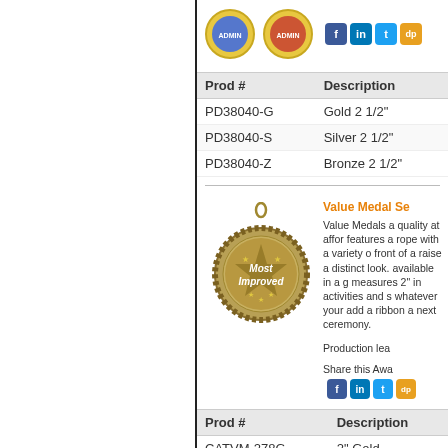[Figure (photo): Two medal images shown at top of right panel]
| Prod # | Description |
| --- | --- |
| PD38040-G | Gold 2 1/2" |
| PD38040-S | Silver 2 1/2" |
| PD38040-Z | Bronze 2 1/2" |
Value Medal Se...
Value Medals a... quality at affor... features a rope... with a variety o... front of a raise... a distinct look... available in a g... measures 2" in... activities and s... whatever your... add a ribbon a... next ceremony...
Production lea...
Share this Awa...
[Figure (photo): Gold medal with Most Improved engraving and rope border]
| Prod # | Description |
| --- | --- |
| CATVM-278G | 2" Gold |